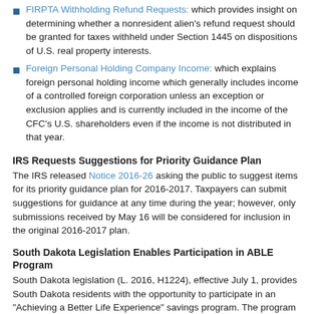FIRPTA Withholding Refund Requests: which provides insight on determining whether a nonresident alien's refund request should be granted for taxes withheld under Section 1445 on dispositions of U.S. real property interests.
Foreign Personal Holding Company Income: which explains foreign personal holding income which generally includes income of a controlled foreign corporation unless an exception or exclusion applies and is currently included in the income of the CFC's U.S. shareholders even if the income is not distributed in that year.
IRS Requests Suggestions for Priority Guidance Plan
The IRS released Notice 2016-26 asking the public to suggest items for its priority guidance plan for 2016-2017. Taxpayers can submit suggestions for guidance at any time during the year; however, only submissions received by May 16 will be considered for inclusion in the original 2016-2017 plan.
South Dakota Legislation Enables Participation in ABLE Program
South Dakota legislation (L. 2016, H1224), effective July 1, provides South Dakota residents with the opportunity to participate in an "Achieving a Better Life Experience" savings program. The program permits the creation of tax-free savings accounts for individuals with disabilities for